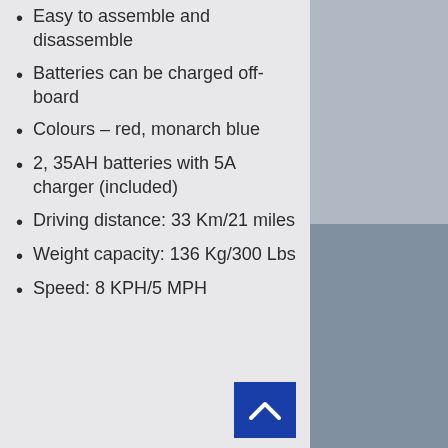Easy to assemble and disassemble
Batteries can be charged off-board
Colours – red, monarch blue
2, 35AH batteries with 5A charger (included)
Driving distance: 33 Km/21 miles
Weight capacity: 136 Kg/300 Lbs
Speed: 8 KPH/5 MPH
[Figure (photo): Top photo of mobility/wheelchair equipment in a store]
[Figure (photo): Bottom photo of mobility scooter/wheelchair equipment with Drive branding]